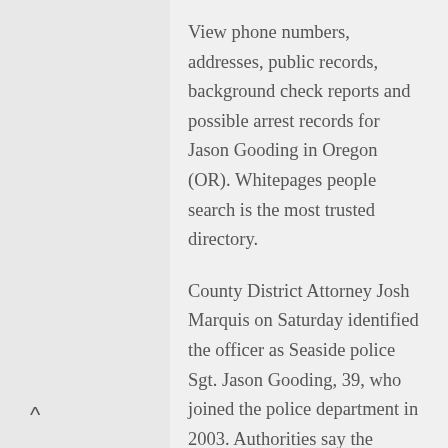View phone numbers, addresses, public records, background check reports and possible arrest records for Jason Gooding in Oregon (OR). Whitepages people search is the most trusted directory.
County District Attorney Josh Marquis on Saturday identified the officer as Seaside police Sgt. Jason Gooding, 39, who joined the police department in 2003. Authorities say the shooting happened Friday night in downtown Seaside as Gooding and another officer were attempting to arrest a man wanted on a warrant for felony assault.
Posted in Oregon News